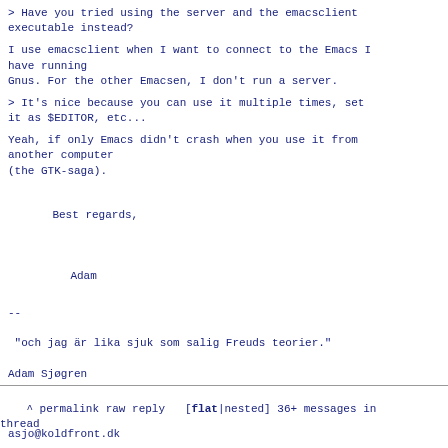> Have you tried using the server and the emacsclient executable instead?
I use emacsclient when I want to connect to the Emacs I have running
Gnus. For the other Emacsen, I don't run a server.
> It's nice because you can use it multiple times, set it as $EDITOR, etc...
Yeah, if only Emacs didn't crash when you use it from another computer
(the GTK-saga).
Best regards,

    Adam
--
 "och jag är lika sjuk som salig Freuds teorier."
Adam Sjøgren

asjo@koldfront.dk
^ permalink raw reply   [flat|nested] 36+ messages in thread